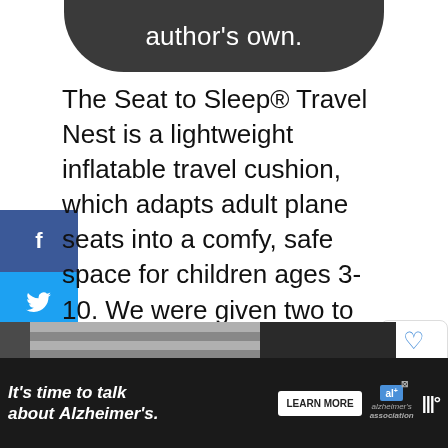[Figure (illustration): Dark rounded pill/banner at top with white text reading 'author's own.']
The Seat to Sleep® Travel Nest is a lightweight inflatable travel cushion, which adapts adult plane seats into a comfy, safe space for children ages 3-10. We were given two to review on our recent long haul flight with our kids on Virgin Atlantic to Orlando, Florida.
[Figure (photo): Partial photo showing a striped shirt and dark jacket, partially visible at bottom of page]
[Figure (infographic): Advertisement banner at bottom: 'It's time to talk about Alzheimer's.' with Learn More button and Alzheimer's Association logo]